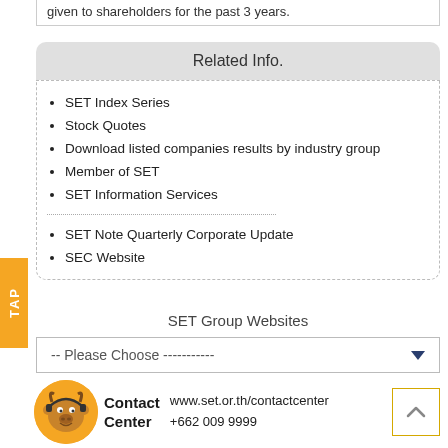given to shareholders for the past 3 years.
Related Info.
SET Index Series
Stock Quotes
Download listed companies results by industry group
Member of SET
SET Information Services
SET Note Quarterly Corporate Update
SEC Website
SET Group Websites
-- Please Choose -----------
Contact Center   www.set.or.th/contactcenter   +662 009 9999